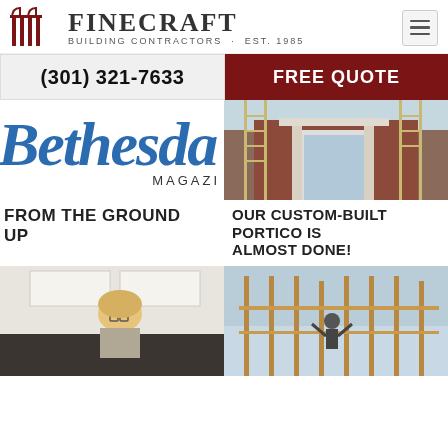[Figure (logo): FineCraft Building Contractors logo with column icon, Est. 1985]
(301) 321-7633
FREE QUOTE
[Figure (photo): Bethesda Magazine logo/text in blue italic]
[Figure (photo): Construction photo of a portico being built on a brick house with ladders]
FROM THE GROUND UP
OUR CUSTOM-BUILT PORTICO IS ALMOST DONE!
[Figure (photo): Woman with glasses in a kitchen interior design setting]
[Figure (photo): Construction workers on wooden frame structure]